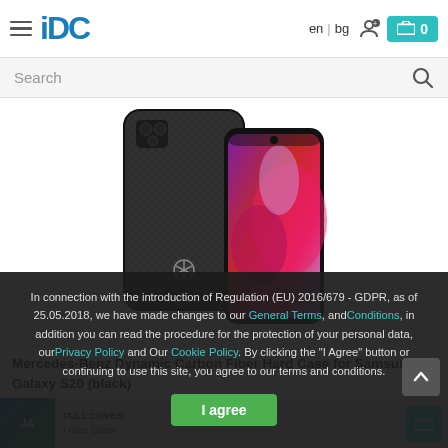IDC header with language selector en | bg, user icon, cart button with 0 items
Search
[Figure (photo): Mercedes-Benz Dynamic Carbon Fiber Hard Case for Samsung Galaxy S20 in black, showing back and front view of phone with case applied]
Mercedes-Benz Dynamic Carbon Fiber Hard Case for Samsung Galaxy S20 (black)
29.99 €
In connection with the introduction of Regulation (EU) 2016/679 - GDPR, as of 25.05.2018, we have made changes to our General Terms, and Conditions, in addition you can read the procedure for the protection of your personal data, our Privacy Policy and Our Cookie Policy. By clicking the "I Agree" button or continuing to use this site, you agree to our terms and conditions.
I agree
[Figure (photo): Partial product thumbnail visible at bottom - JAM product with FULL COVER / Glue Glass text]